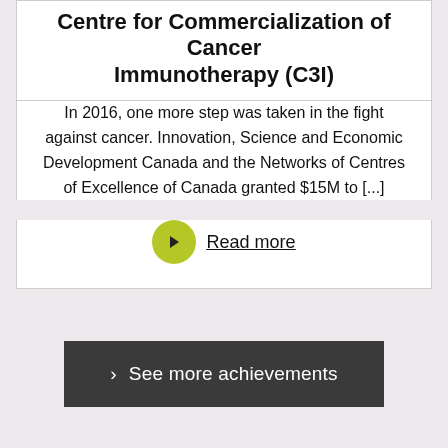Centre for Commercialization of Cancer Immunotherapy (C3I)
In 2016, one more step was taken in the fight against cancer. Innovation, Science and Economic Development Canada and the Networks of Centres of Excellence of Canada granted $15M to [...]
Read more
> See more achievements
[Figure (logo): reCAPTCHA widget with Privacy - Terms text]